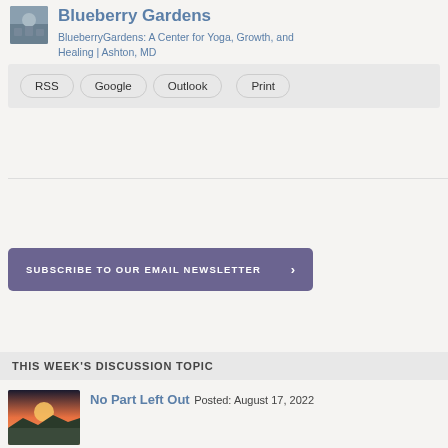Blueberry Gardens
BlueberryGardens: A Center for Yoga, Growth, and Healing | Ashton, MD
RSS  Google  Outlook  Print
[Figure (other): Subscribe to our email newsletter button]
THIS WEEK'S DISCUSSION TOPIC
No Part Left Out
Posted: August 17, 2022